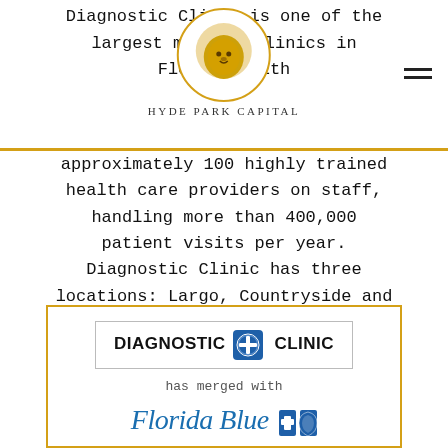Hyde Park Capital
physical therapy, interventional spine care and related services. Diagnostic Clinic is one of the largest medical clinics in Florida, with approximately 100 highly trained health care providers on staff, handling more than 400,000 patient visits per year. Diagnostic Clinic has three locations: Largo, Countryside and Palm Harbor.
[Figure (infographic): Transaction announcement box with gold border showing 'Diagnostic Clinic has merged with Florida Blue' logos]